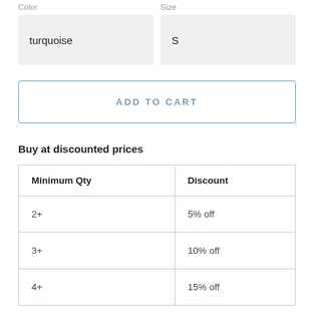Color
Size
turquoise
S
ADD TO CART
Buy at discounted prices
| Minimum Qty | Discount |
| --- | --- |
| 2+ | 5% off |
| 3+ | 10% off |
| 4+ | 15% off |